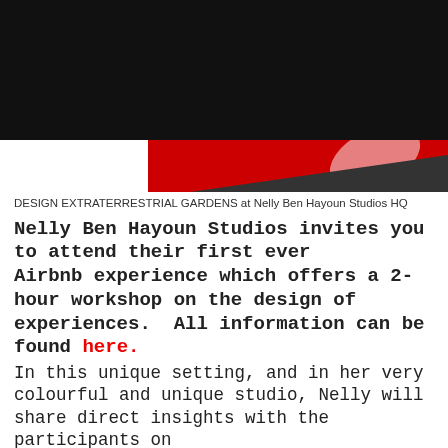[Figure (photo): Abstract image with black upper section and large red circular/blob shape against black and white background, partially visible at bottom]
DESIGN EXTRATERRESTRIAL GARDENS at Nelly Ben Hayoun Studios HQ
Nelly Ben Hayoun Studios invites you to attend their first ever Airbnb experience which offers a 2-hour workshop on the design of experiences.  All information can be found here.
In this unique setting, and in her very colourful and unique studio, Nelly will share direct insights with the participants on